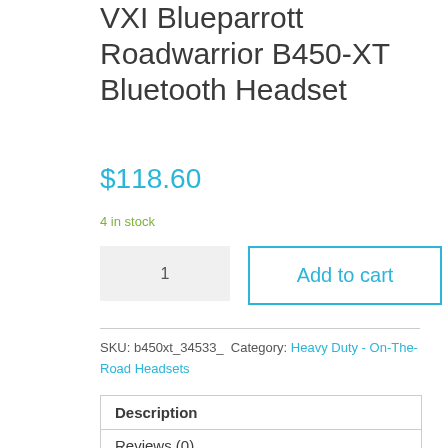VXI Blueparrott Roadwarrior B450-XT Bluetooth Headset
$118.60
4 in stock
1
Add to cart
SKU: b450xt_34533_  Category: Heavy Duty - On-The-Road Headsets
Description
Reviews (0)